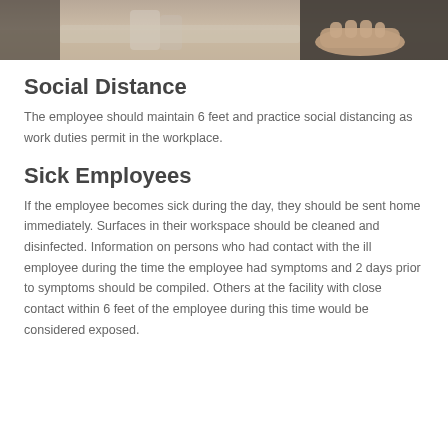[Figure (photo): Photograph showing a person's hands on a desk, likely working at a table in an office or workspace setting.]
Social Distance
The employee should maintain 6 feet and practice social distancing as work duties permit in the workplace.
Sick Employees
If the employee becomes sick during the day, they should be sent home immediately. Surfaces in their workspace should be cleaned and disinfected. Information on persons who had contact with the ill employee during the time the employee had symptoms and 2 days prior to symptoms should be compiled. Others at the facility with close contact within 6 feet of the employee during this time would be considered exposed.